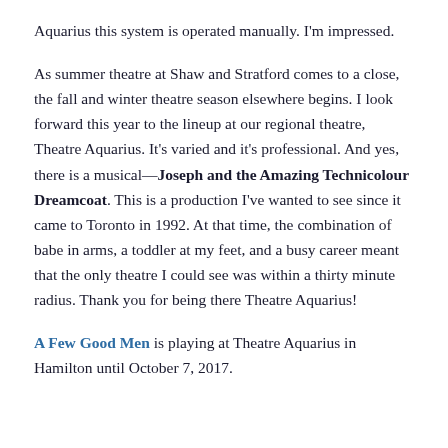Aquarius this system is operated manually. I'm impressed.
As summer theatre at Shaw and Stratford comes to a close, the fall and winter theatre season elsewhere begins. I look forward this year to the lineup at our regional theatre, Theatre Aquarius. It's varied and it's professional. And yes, there is a musical—Joseph and the Amazing Technicolour Dreamcoat. This is a production I've wanted to see since it came to Toronto in 1992. At that time, the combination of babe in arms, a toddler at my feet, and a busy career meant that the only theatre I could see was within a thirty minute radius. Thank you for being there Theatre Aquarius!
A Few Good Men is playing at Theatre Aquarius in Hamilton until October 7, 2017.